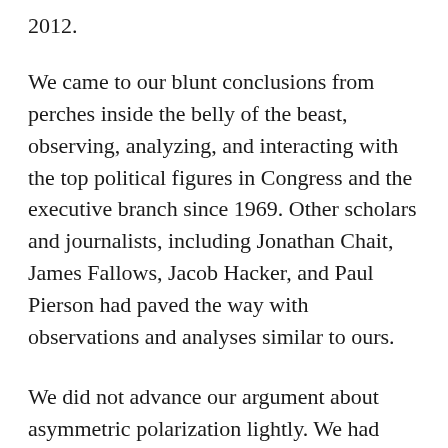2012.
We came to our blunt conclusions from perches inside the belly of the beast, observing, analyzing, and interacting with the top political figures in Congress and the executive branch since 1969. Other scholars and journalists, including Jonathan Chait, James Fallows, Jacob Hacker, and Paul Pierson had paved the way with observations and analyses similar to ours.
We did not advance our argument about asymmetric polarization lightly. We had worked closely with members of both parties and are not unaware of the issues and divisions inside the Democratic Party. But we had seen the GOP go from a problem-solving center-right party to a problem-solving very conservative party and then evolve into an obstructionist party intent on